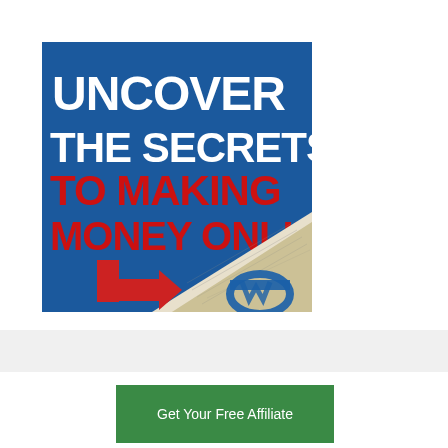[Figure (illustration): Promotional graphic with dark blue background. Large white bold text reads 'UNCOVER THE SECRETS' and bold red text reads 'TO MAKING MONEY ONLINE'. A peeled corner effect shows money (dollar bills) underneath, with a red arrow pointing right. A blue logo (WA - Wealthy Affiliate) appears at the bottom right.]
Get Your Free Affiliate